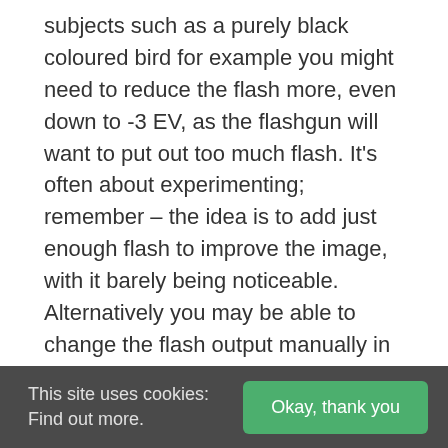subjects such as a purely black coloured bird for example you might need to reduce the flash more, even down to -3 EV, as the flashgun will want to put out too much flash. It's often about experimenting; remember – the idea is to add just enough flash to improve the image, with it barely being noticeable. Alternatively you may be able to change the flash output manually in which case you could try around 1/16 of full power. On my camera, the Canon 1DX Mark i, I can actually change the flash output in camera using the flash +/- compensation dial – this is perfect as it means I don't need to take my eye away from the
This site uses cookies: Find out more.